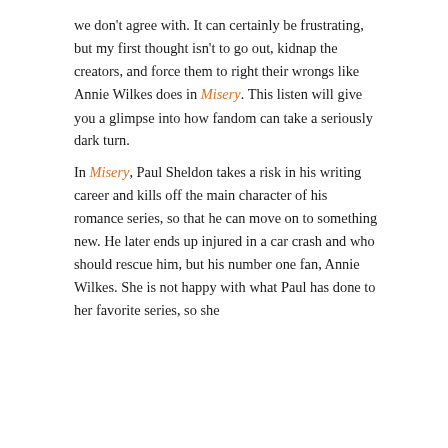we don't agree with. It can certainly be frustrating, but my first thought isn't to go out, kidnap the creators, and force them to right their wrongs like Annie Wilkes does in Misery. This listen will give you a glimpse into how fandom can take a seriously dark turn.

In Misery, Paul Sheldon takes a risk in his writing career and kills off the main character of his romance series, so that he can move on to something new. He later ends up injured in a car crash and who should rescue him, but his number one fan, Annie Wilkes. She is not happy with what Paul has done to her favorite series, so she